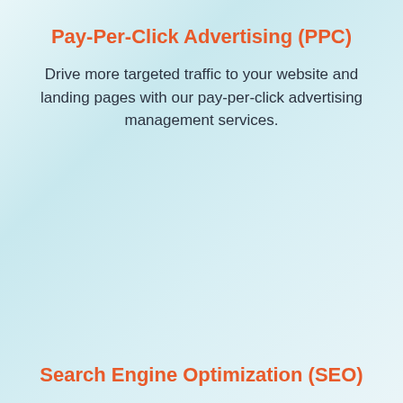Pay-Per-Click Advertising (PPC)
Drive more targeted traffic to your website and landing pages with our pay-per-click advertising management services.
Search Engine Optimization (SEO)